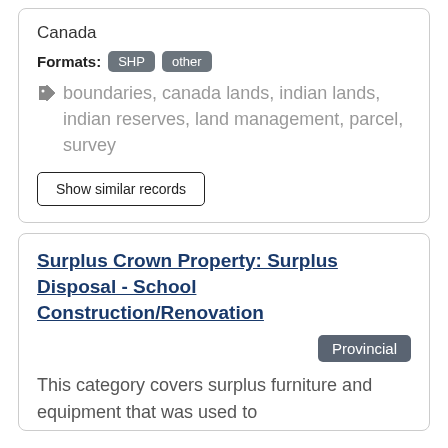Canada
Formats: SHP other
boundaries, canada lands, indian lands, indian reserves, land management, parcel, survey
Show similar records
Surplus Crown Property: Surplus Disposal - School Construction/Renovation
Provincial
This category covers surplus furniture and equipment that was used to